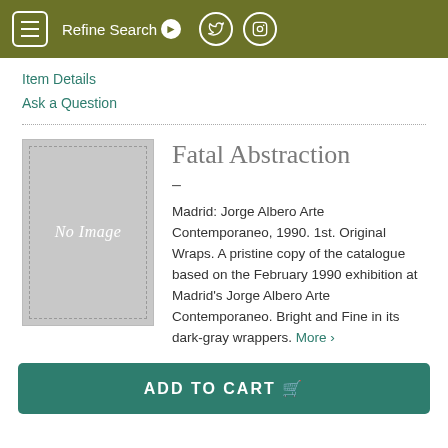≡ Refine Search ▶ [Twitter] [Instagram]
Item Details
Ask a Question
[Figure (other): No Image placeholder box with dashed border and italic 'No Image' text on gray background]
Fatal Abstraction
–
Madrid: Jorge Albero Arte Contemporaneo, 1990. 1st. Original Wraps. A pristine copy of the catalogue based on the February 1990 exhibition at Madrid's Jorge Albero Arte Contemporaneo. Bright and Fine in its dark-gray wrappers. More >